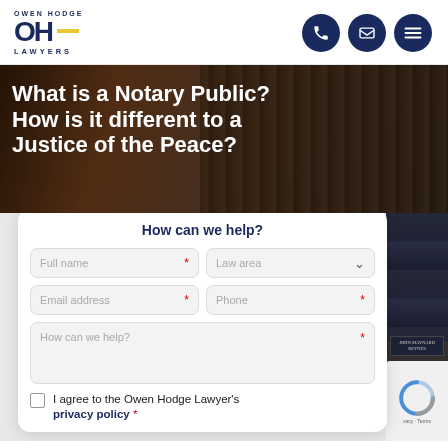Owen Hodge Lawyers — logo and navigation icons
What is a Notary Public? How is it different to a Justice of the Peace?
[Figure (screenshot): Website contact form with heading 'How can we help?' containing fields: Full name, Law area (dropdown), Email address, Phone, How can we help (textarea), and a checkbox for agreeing to privacy policy]
I agree to the Owen Hodge Lawyer's privacy policy